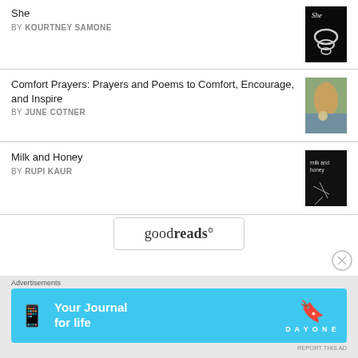She BY KOURTNEY SAMONE
Comfort Prayers: Prayers and Poems to Comfort, Encourage, and Inspire BY JUNE COTNER
Milk and Honey BY RUPI KAUR
[Figure (logo): Goodreads logo button with rounded border]
[Figure (illustration): Close/X button circle]
Advertisements
[Figure (infographic): DayOne app advertisement banner - Your Journal for life, blue background]